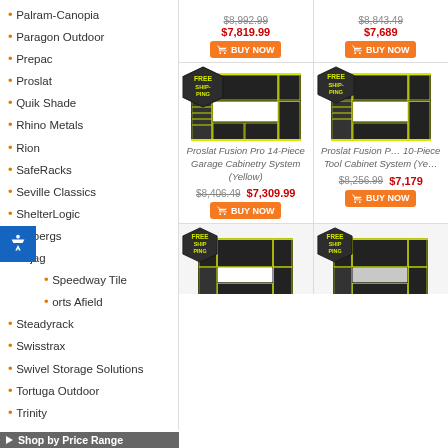Palram-Canopia
Paragon Outdoor
Prepac
Proslat
Quik Shade
Rhino Metals
Rion
SafeRacks
Seville Classics
ShelterLogic
Sjobergs
Sojag
Speedway Tile
Sports Afield
Steadyrack
Swisstrax
Swivel Storage Solutions
Tortuga Outdoor
Trinity
Ulti-MATE Garage Cabinets
Vyper Industrial
Winchester Safes
Workshop Vacs
Yardistry
Shop by Price Range
[Figure (other): Two truncated product cards at top showing old/sale prices and Buy Now buttons for Proslat Fusion Pro garage cabinet products. Top-left: $8,992.99 / $7,819.99; Top-right: $8,843.49 / $7,689]
[Figure (other): Proslat Fusion Pro 14-Piece Garage Cabinetry System (Yellow) with Free Shipping badge, dark cabinet with yellow accents. Price: $8,406.49 / $7,309.99 with Buy Now button]
[Figure (other): Proslat Fusion Pro 10-Piece Tool Cabinet System (Yellow) with Free Shipping badge. Price: $8,256.99 / $7,179 with Buy Now button]
[Figure (other): Two partial product cards at bottom showing Free Shipping badges and dark garage cabinet images with yellow accents]